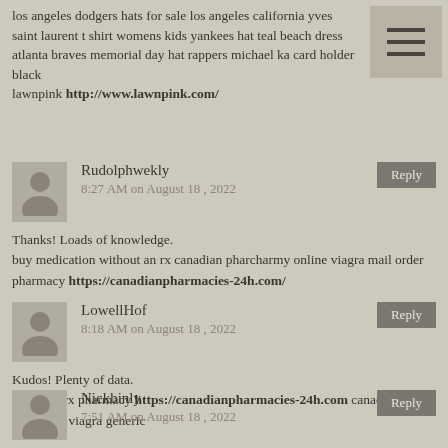los angeles dodgers hats for sale los angeles california yves saint laurent t shirt womens kids yankees hat teal beach dress atlanta braves memorial day hat rappers michael ka card holder black
lawnpink http://www.lawnpink.com/
Rudolphwekly
8:27 AM on August 18, 2022
Thanks! Loads of knowledge.
buy medication without an rx canadian pharcharmy online viagra mail order pharmacy https://canadianpharmacies-24h.com/
LowellHof
8:18 AM on August 18, 2022
Kudos! Plenty of data.
canadian rx pharmacy https://canadianpharmacies-24h.com canadian pharmacy viagra generic
Nickbinly
7:51 AM on August 18, 2022
aurogra 100